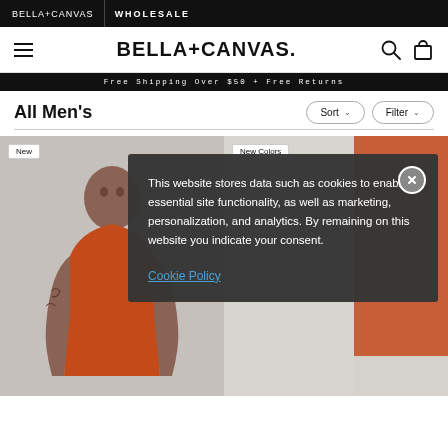BELLA+CANVAS | WHOLESALE
BELLA+CANVAS.
Free Shipping Over $50 + Free Returns
All Men's
[Figure (screenshot): Product grid with two men's clothing items; left item tagged 'New', right item tagged 'New Colors'. Man in orange tank top visible on left.]
This website stores data such as cookies to enable essential site functionality, as well as marketing, personalization, and analytics. By remaining on this website you indicate your consent.

Cookie Policy